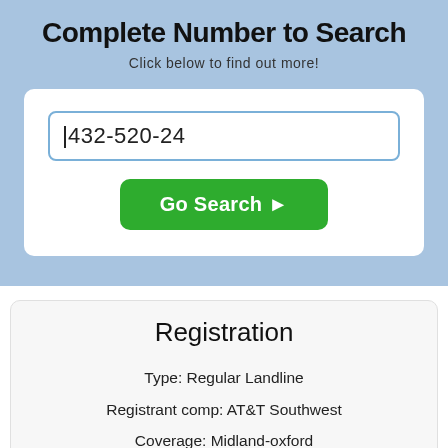Complete Number to Search
Click below to find out more!
432-520-24
Go Search ➤
Registration
Type: Regular Landline
Registrant comp: AT&T Southwest
Coverage: Midland-oxford
Area code: 432
Sub code: 432-520